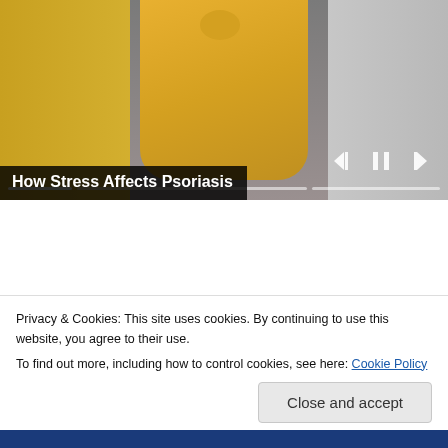[Figure (screenshot): Video player showing a person in a yellow sweater sitting on a couch, with playback controls (skip back, pause, skip forward) and a progress bar at the bottom. Title overlay reads 'How Stress Affects Psoriasis'.]
How Stress Affects Psoriasis
[Figure (illustration): Blue banner with a globe/sphere illustration — a silver-white textured globe on a dark blue background with a faint circle outline.]
Privacy & Cookies: This site uses cookies. By continuing to use this website, you agree to their use.
To find out more, including how to control cookies, see here: Cookie Policy
Close and accept